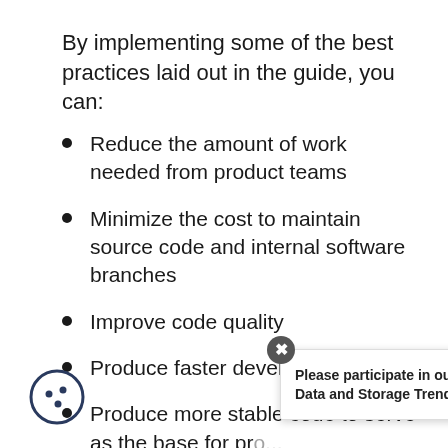By implementing some of the best practices laid out in the guide, you can:
Reduce the amount of work needed from product teams
Minimize the cost to maintain source code and internal software branches
Improve code quality
Produce faster development cycles
Produce more stable code to serve as the base for pr...
Improve co... source communities.
Please participate in our 2022 SODA Data and Storage Trends survey!
[Figure (logo): Cookie consent icon - circular icon with dots]
[Figure (logo): The Linux Foundation logo]